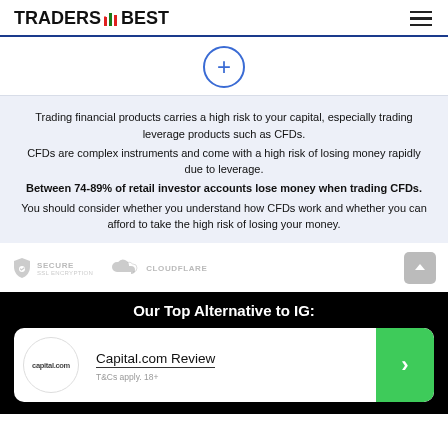TRADERS BEST
[Figure (other): Blue circle with plus sign expand/collapse button]
Trading financial products carries a high risk to your capital, especially trading leverage products such as CFDs. CFDs are complex instruments and come with a high risk of losing money rapidly due to leverage. Between 74-89% of retail investor accounts lose money when trading CFDs. You should consider whether you understand how CFDs work and whether you can afford to take the high risk of losing your money.
[Figure (logo): Secure SSL Encryption badge and Cloudflare logo]
Our Top Alternative to IG:
Capital.com Review
T&Cs apply. 18+